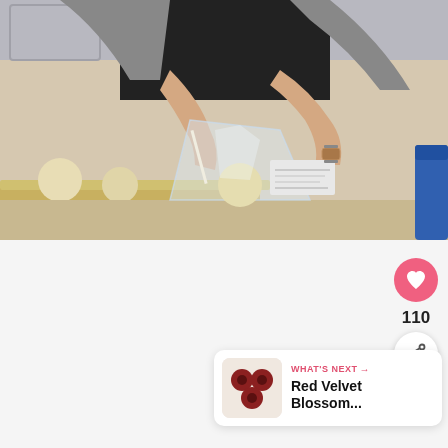[Figure (photo): Person packaging cake pops on a baking tray. Hands visible placing a cake pop ball into a clear cellophane bag. Several uncoated cake pop balls on sticks visible on the tray in the background. A blue container is visible on the right edge.]
[Figure (photo): White/blank content area below the main photo, partially visible second image area.]
110
WHAT'S NEXT →
Red Velvet Blossom...